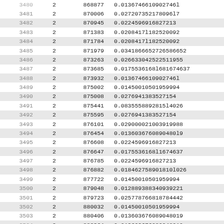| index | col1 | col2 | col3 |
| --- | --- | --- | --- |
| 3481 | 2 | 870006 | 0.027207352178096l7 |
| 3482 | 2 | 870945 | 0.0224596916827213 |
| 3483 | 2 | 871383 | 0.0208417l182520092 |
| 3484 | 2 | 871784 | 0.0208417l182520092 |
| 3485 | 2 | 871979 | 0.0341866652725686652 |
| 3486 | 2 | 873263 | 0.0266330425225l1955 |
| 3487 | 2 | 873685 | 0.0175536168l674637 |
| 3488 | 2 | 873932 | 0.0136746610902746l |
| 3489 | 2 | 875002 | 0.01450010501959994 |
| 3490 | 2 | 875008 | 0.027694l383527l54 |
| 3491 | 2 | 875441 | 0.0835558892815l4026 |
| 3492 | 2 | 875595 | 0.0276941383527154 |
| 3493 | 2 | 876101 | 0.0290000210039l9988 |
| 3494 | 2 | 876454 | 0.013603676089048099 |
| 3495 | 2 | 876608 | 0.0224596916827213 |
| 3496 | 2 | 876647 | 0.0175536168l674637 |
| 3497 | 2 | 876785 | 0.0224596916827213 |
| 3498 | 2 | 876882 | 0.018462758901810026 |
| 3499 | 2 | 877722 | 0.01450010501959994 |
| 3500 | 2 | 879048 | 0.01288893834093922l |
| 3501 | 2 | 879723 | 0.025778766818784422 |
| 3502 | 2 | 880032 | 0.0l4500l0501959994 |
| 3503 | 2 | 880406 | 0.0136036760890480l9 |
| 3504 | 2 | 882364 | 0.013603676089048099 |
| 3505 | 2 | 882386 | 0.01450010501959994 |
| 3506 | 2 | 882577 | 0.018462758901810026 |
| 3507 | 2 | 884303 | 0.0224596916827213 |
| 3508 | 2 | 884404 | 0.013603676089048099 |